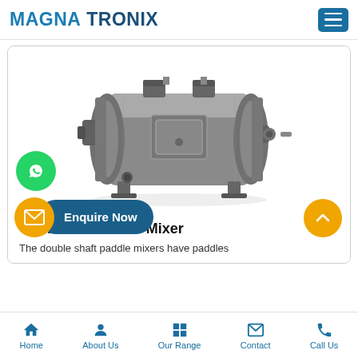MAGNA TRONIX
[Figure (photo): Industrial twin shaft paddle mixer machine, metallic grey color, horizontal cylindrical body with paddles inside, motor and gear assembly on sides, inlet ports on top, viewed from front-left angle on white background]
Twin Shaft Paddle Mixer
The double shaft paddle mixers have paddles
Home | About Us | Our Range | Contact | Call Us